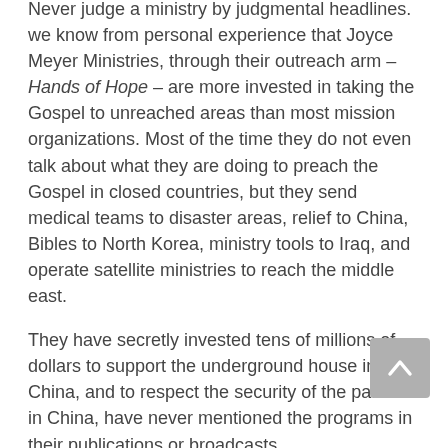Never judge a ministry by judgmental headlines. we know from personal experience that Joyce Meyer Ministries, through their outreach arm – Hands of Hope – are more invested in taking the Gospel to unreached areas than most mission organizations. Most of the time they do not even talk about what they are doing to preach the Gospel in closed countries, but they send medical teams to disaster areas, relief to China, Bibles to North Korea, ministry tools to Iraq, and operate satellite ministries to reach the middle east.
They have secretly invested tens of millions of dollars to support the underground house in China, and to respect the security of the pastors in China, have never mentioned the programs in their publications or broadcasts.
Hand of Hope has amazing volunteer opportunities – especially for medical and dental personnel.